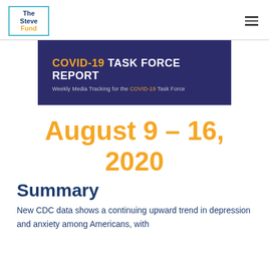The Steve Fund
[Figure (illustration): COVID-19 TASK FORCE REPORT banner with subtitle: Weekly Media Tracking for the COVID-19 Task Force. Dark navy/purple background with orange and white text.]
August 9 – 16, 2020
Summary
New CDC data shows a continuing upward trend in depression and anxiety among Americans, with